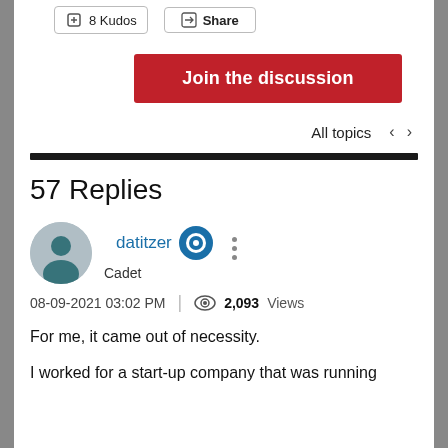8 Kudos   Share
Join the discussion
All topics < >
57 Replies
datitzer Cadet
08-09-2021 03:02 PM | 2,093 Views
For me, it came out of necessity.
I worked for a start-up company that was running